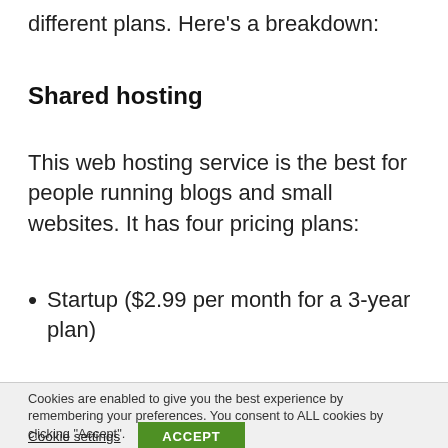different plans. Here's a breakdown:
Shared hosting
This web hosting service is the best for people running blogs and small websites. It has four pricing plans:
Startup ($2.99 per month for a 3-year plan)
Cookies are enabled to give you the best experience by remembering your preferences. You consent to ALL cookies by clicking "Accept".
Cookie settings   ACCEPT